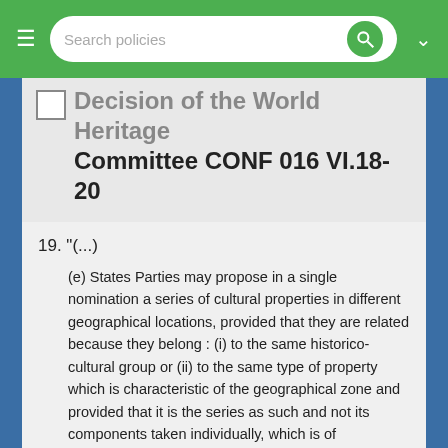Search policies
Decision of the World Heritage Committee CONF 016 VI.18-20
19. "(...)
(e) States Parties may propose in a single nomination a series of cultural properties in different geographical locations, provided that they are related because they belong : (i) to the same historico-cultural group or (ii) to the same type of property which is characteristic of the geographical zone and provided that it is the series as such and not its components taken individually, which is of outstanding universal value."
Theme: 2.7.3 - Serial properties
Decision: 4 COM VI.18-20